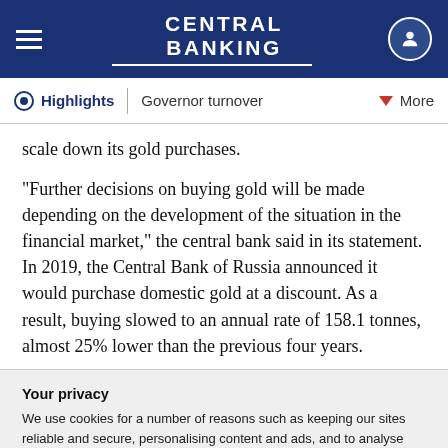CENTRAL BANKING
Highlights | Governor turnover | More
scale down its gold purchases.
“Further decisions on buying gold will be made depending on the development of the situation in the financial market,” the central bank said in its statement. In 2019, the Central Bank of Russia announced it would purchase domestic gold at a discount. As a result, buying slowed to an annual rate of 158.1 tonnes, almost 25% lower than the previous four years.
Your privacy
We use cookies for a number of reasons such as keeping our sites reliable and secure, personalising content and ads, and to analyse how our sites are used. To find out more please read our updated privacy policy.
ACCEPT AND CONTINUE